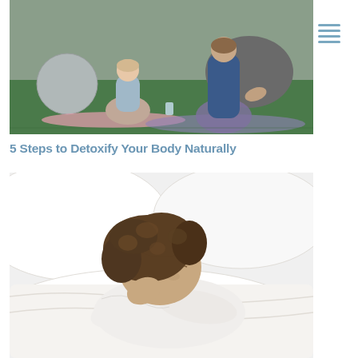[Figure (photo): Two people sitting cross-legged on yoga mats outdoors doing meditation, with a large exercise ball in the background on green grass.]
5 Steps to Detoxify Your Body Naturally
[Figure (photo): A young woman with curly hair sleeping on white pillows and bedding, head resting on her arms.]